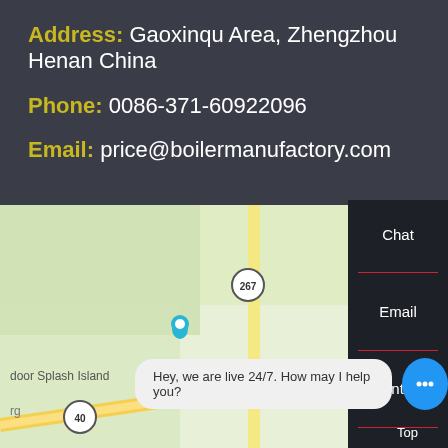Address: Gaoxinqu Area, Zhengzhou Henan China
Phone: 0086-371-60922096
Email: price@boilermanufactory.com
[Figure (map): Google Maps showing Plainfield area with Six Points, Road 267, Road 40, Outdoor Splash Island, and a WhatsApp contact button overlay with 'Contact us now!' bubble]
Chat
Email
Contact
Hey, we are live 24/7. How may I help you?
Top